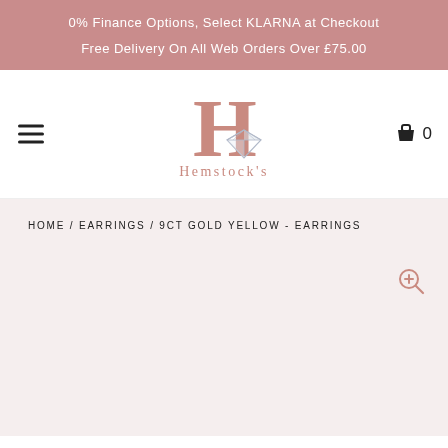0% Finance Options, Select KLARNA at Checkout
Free Delivery On All Web Orders Over £75.00
[Figure (logo): Hemstock's jewellery logo with large stylised H in rose gold and a diamond illustration, text reads Hemstock's]
HOME / EARRINGS / 9CT GOLD YELLOW - EARRINGS
[Figure (photo): Product image area for 9ct gold yellow earrings, light pink background with zoom icon in top right corner]